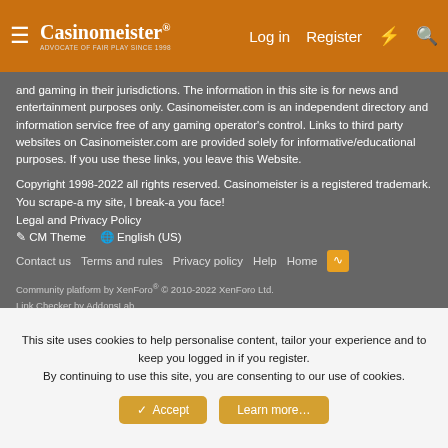Casinomeister® — Log in | Register
and gaming in their jurisdictions. The information in this site is for news and entertainment purposes only. Casinomeister.com is an independent directory and information service free of any gaming operator's control. Links to third party websites on Casinomeister.com are provided solely for informative/educational purposes. If you use these links, you leave this Website.
Copyright 1998-2022 all rights reserved. Casinomeister is a registered trademark. You scrape-a my site, I break-a you face!
Legal and Privacy Policy
✏ CM Theme   🌐 English (US)
Contact us   Terms and rules   Privacy policy   Help   Home
Community platform by XenForo® © 2010-2022 XenForo Ltd.
Link Checker by AddonsLab
| Add-ons by ThemeHouse
This site uses cookies to help personalise content, tailor your experience and to keep you logged in if you register.
By continuing to use this site, you are consenting to our use of cookies.